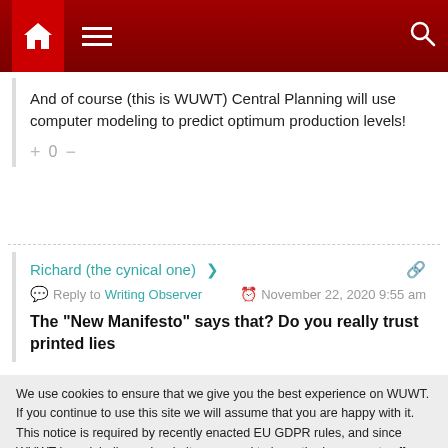[Figure (screenshot): Website navigation bar with red background, home icon, hamburger menu, and search icon]
And of course (this is WUWT) Central Planning will use computer modeling to predict optimum production levels!
+ 0 −
Richard (the cynical one)
Reply to Writing Observer  November 22, 2020 9:55 am
The "New Manifesto" says that? Do you really trust printed lies
We use cookies to ensure that we give you the best experience on WUWT. If you continue to use this site we will assume that you are happy with it. This notice is required by recently enacted EU GDPR rules, and since WUWT is a globally read website, we need to keep the bureaucrats off our case! Cookie Policy
Close and accept